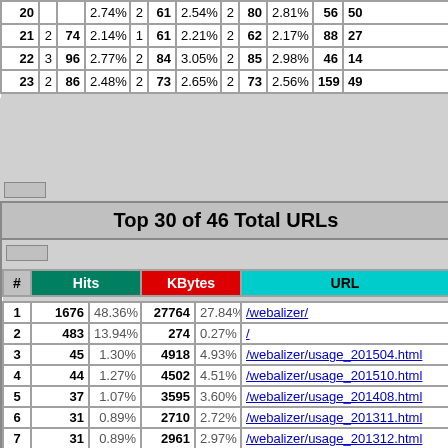| # |  |  |  |  |  |  |  |  |  |  |  |
| --- | --- | --- | --- | --- | --- | --- | --- | --- | --- | --- | --- |
| 20 |  |  | 2.74% | 2 | 61 | 2.54% | 2 | 80 | 2.81% | 56 | 50 |
| 21 | 2 | 74 | 2.14% | 1 | 61 | 2.21% | 2 | 62 | 2.17% | 88 | 27 |
| 22 | 3 | 96 | 2.77% | 2 | 84 | 3.05% | 2 | 85 | 2.98% | 46 | 14 |
| 23 | 2 | 86 | 2.48% | 2 | 73 | 2.65% | 2 | 73 | 2.56% | 159 | 49 |
| # | Hits |  | KBytes |  | URL |
| --- | --- | --- | --- | --- | --- |
| 1 | 1676 | 48.36% | 27764 | 27.84% | /webalizer/ |
| 2 | 483 | 13.94% | 274 | 0.27% | / |
| 3 | 45 | 1.30% | 4918 | 4.93% | /webalizer/usage_201504.html |
| 4 | 44 | 1.27% | 4502 | 4.51% | /webalizer/usage_201510.html |
| 5 | 37 | 1.07% | 3595 | 3.60% | /webalizer/usage_201408.html |
| 6 | 31 | 0.89% | 2710 | 2.72% | /webalizer/usage_201311.html |
| 7 | 31 | 0.89% | 2961 | 2.97% | /webalizer/usage_201312.html |
| 8 | 31 | 0.89% | 3090 | 3.10% | /webalizer/usage_201402.html |
| 9 | 31 | 0.89% | 3183 | 3.19% | /webalizer/usage_201403.html |
| 10 | 31 | 0.89% | 3621 | 3.63% | /webalizer/usage_201405.html |
| 11 | 31 | 0.89% | 3274 | 3.28% | /webalizer/usage_201411.html |
| 12 | 31 | 0.89% | 3541 | 3.55% | /webalizer/usage_201502.html |
| 13 | 30 | 0.87% | 2718 | 2.73% | /webalizer/usage_201401.html |
| 14 | 29 | 0.84% | 2988 | 3.00% | /webalizer/usage_201404.html |